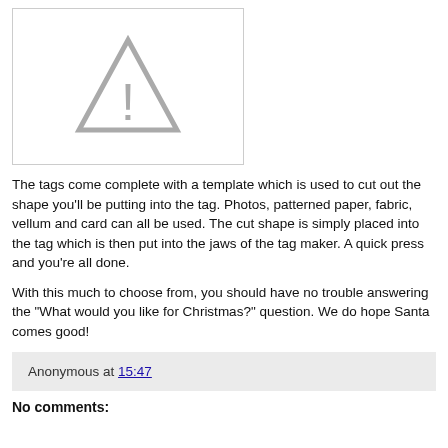[Figure (other): Image placeholder with grey triangle warning/missing-image icon on white background with grey border]
The tags come complete with a template which is used to cut out the shape you'll be putting into the tag. Photos, patterned paper, fabric, vellum and card can all be used. The cut shape is simply placed into the tag which is then put into the jaws of the tag maker. A quick press and you're all done.
With this much to choose from, you should have no trouble answering the "What would you like for Christmas?" question. We do hope Santa comes good!
Anonymous at 15:47
No comments: